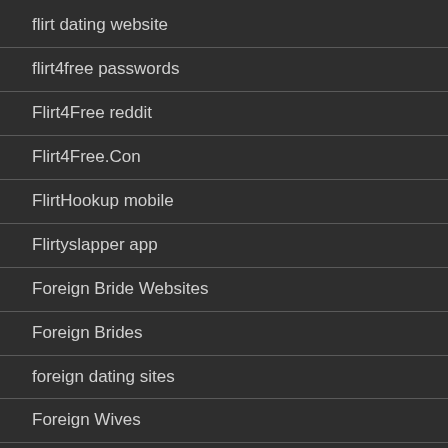flirt dating website
flirt4free passwords
Flirt4Free reddit
Flirt4Free.Con
FlirtHookup mobile
Flirtyslapper app
Foreign Bride Websites
Foreign Brides
foreign dating sites
Foreign Wives
Foreign Women